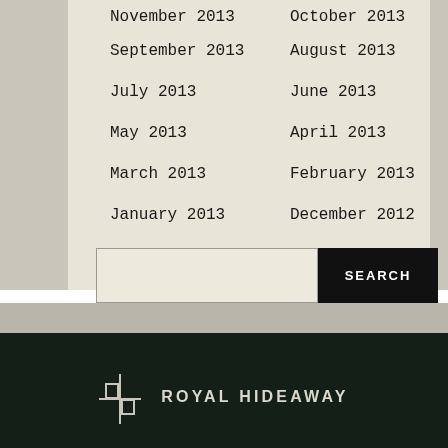November 2013
October 2013
September 2013
August 2013
July 2013
June 2013
May 2013
April 2013
March 2013
February 2013
January 2013
December 2012
[Figure (other): Search bar with text input and black SEARCH button]
ROYAL HIDEAWAY